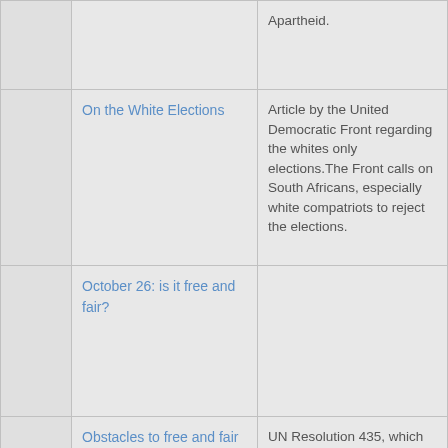|  |  |  |
| --- | --- | --- |
|  |  | Apartheid. |
|  | On the White Elections | Article by the United Democratic Front regarding the whites only elections.The Front calls on South Africans, especially white compatriots to reject the elections. |
|  | October 26: is it free and fair? |  |
|  | Obstacles to free and fair elections in Namibia | UN Resolution 435, which provided for free and fair elections in Namibia, was implemented on 1 April 1989. A Special Representative of the UN Secretary General and a UN Transition Assistance |